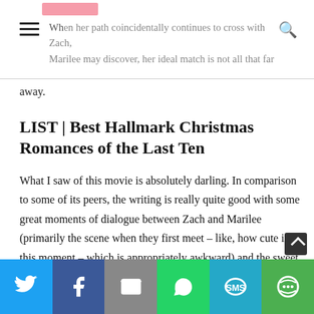When her path coincidentally continues to cross with Zach, Marilee may discover, her ideal match is not all that far away.
away.
LIST | Best Hallmark Christmas Romances of the Last Ten
What I saw of this movie is absolutely darling. In comparison to some of its peers, the writing is really quite good with some great moments of dialogue between Zach and Marilee (primarily the scene when they first meet – like, how cute is this moment – which is appropriately awkward) and the sweet way Zach talks about his impressions of Marilee then there are the fun scenes of Zach at the firehouse where he manages to get some much-